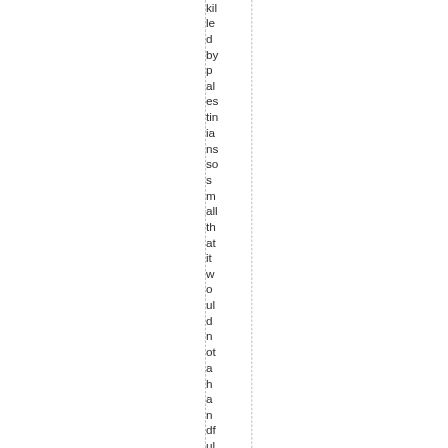killed by palestinians so small that it would not a handful of